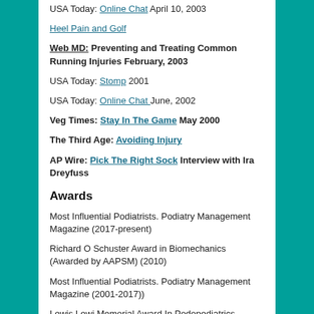USA Today: Online Chat April 10, 2003
Heel Pain and Golf
Web MD: Preventing and Treating Common Running Injuries February, 2003
USA Today: Stomp 2001
USA Today: Online Chat June, 2002
Veg Times: Stay In The Game May 2000
The Third Age: Avoiding Injury
AP Wire: Pick The Right Sock Interview with Ira Dreyfuss
Awards
Most Influential Podiatrists. Podiatry Management Magazine (2017-present)
Richard O Schuster Award in Biomechanics (Awarded by AAPSM) (2010)
Most Influential Podiatrists. Podiatry Management Magazine (2001-2017))
Lewis Lewi Memorial Award In Podopediatrics
Lectures
Biomedical Engineering in Clinical Practice: Envisioning the Future of Medical Practice. Winter 2017. Guest...